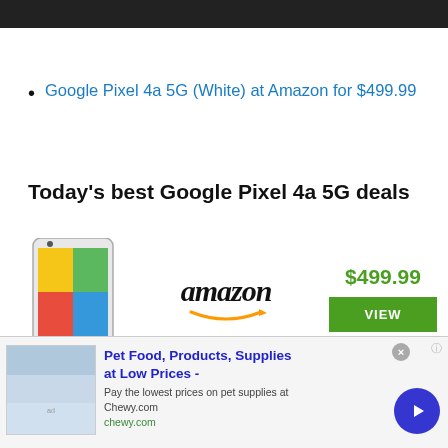[Figure (screenshot): Dark top navigation bar]
Google Pixel 4a 5G (White) at Amazon for $499.99
Today's best Google Pixel 4a 5G deals
[Figure (infographic): Google Pixel 4a 5G phone with Amazon logo showing $499.99 price and green VIEW button]
[Figure (infographic): Google Pixel 4a 5G phone with Newegg logo showing $885 price and green VIEW button (partial)]
[Figure (screenshot): Advertisement banner: Pet Food, Products, Supplies at Low Prices - Chewy.com]